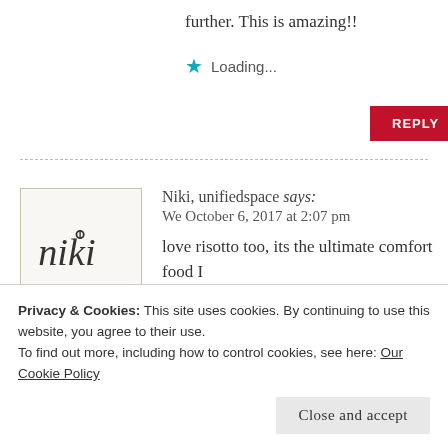further. This is amazing!!
★ Loading...
REPLY
Niki, unifiedspace says:
We October 6, 2017 at 2:07 pm
love risotto too, its the ultimate comfort food I think and this twist looks brilliant. I...
Privacy & Cookies: This site uses cookies. By continuing to use this website, you agree to their use.
To find out more, including how to control cookies, see here: Our Cookie Policy
Close and accept